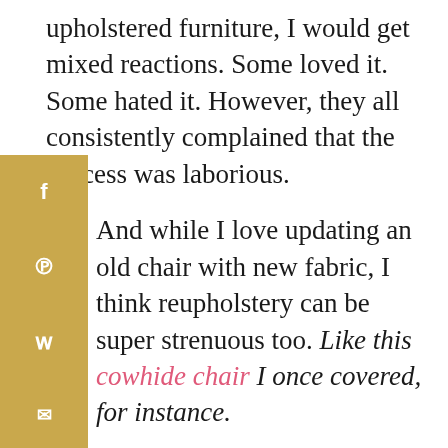upholstered furniture, I would get mixed reactions. Some loved it. Some hated it. However, they all consistently complained that the process was laborious.
And while I love updating an old chair with new fabric, I think reupholstery can be super strenuous too. Like this cowhide chair I once covered, for instance.
When it comes to reupholstering, I'm self-taught and not crazy about spending days and days on one piece of furniture. So typically I only tackle DIY chair upholstery projects that are on the simple side. And also allow me to cover my mistakes with nail-head tacks and/or fabric trim. Like this grain sack chair I once covered, for instance.